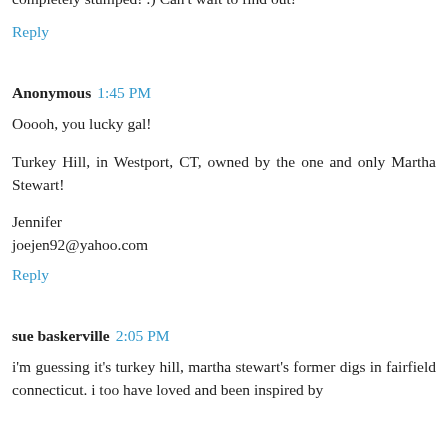but then I didn't remember the stone wall. Then I thought maybe from Mad Men but that doesn't have a stone wall either. Now I am completely stumped! :) Can't wait to find out!
Reply
Anonymous 1:45 PM
Ooooh, you lucky gal!
Turkey Hill, in Westport, CT, owned by the one and only Martha Stewart!
Jennifer
joejen92@yahoo.com
Reply
sue baskerville 2:05 PM
i'm guessing it's turkey hill, martha stewart's former digs in fairfield connecticut. i too have loved and been inspired by